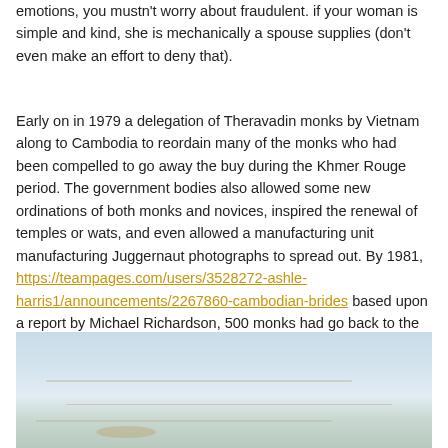emotions, you mustn't worry about fraudulent. if your woman is simple and kind, she is mechanically a spouse supplies (don't even make an effort to deny that).
Early on in 1979 a delegation of Theravadin monks by Vietnam along to Cambodia to reordain many of the monks who had been compelled to go away the buy during the Khmer Rouge period. The government bodies also allowed some new ordinations of both monks and novices, inspired the renewal of temples or wats, and even allowed a manufacturing unit manufacturing Juggernaut photographs to spread out. By 1981, https://teampages.com/users/3528272-ashle-harris1/announcements/2267860-cambodian-brides based upon a report by Michael Richardson, 500 monks had go back to the Sangha approximately 1, five-hundred novices was ordained. An official report in 1982 put the shapes at a couple of, 311 monks, of which 800 have been completely former monks.
[Figure (photo): A faint, washed-out photograph showing a pale blue-gray sky or water scene with subtle horizontal lines/streaks suggesting a distant horizon or water surface.]